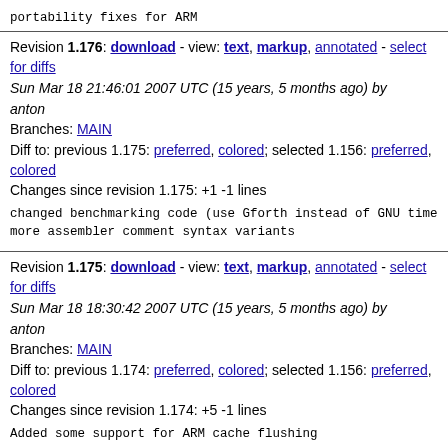portability fixes for ARM
Revision 1.176: download - view: text, markup, annotated - select for diffs
Sun Mar 18 21:46:01 2007 UTC (15 years, 5 months ago) by anton
Branches: MAIN
Diff to: previous 1.175: preferred, colored; selected 1.156: preferred, colored
Changes since revision 1.175: +1 -1 lines
changed benchmarking code (use Gforth instead of GNU time
more assembler comment syntax variants
Revision 1.175: download - view: text, markup, annotated - select for diffs
Sun Mar 18 18:30:42 2007 UTC (15 years, 5 months ago) by anton
Branches: MAIN
Diff to: previous 1.174: preferred, colored; selected 1.156: preferred, colored
Changes since revision 1.174: +5 -1 lines
Added some support for ARM cache flushing